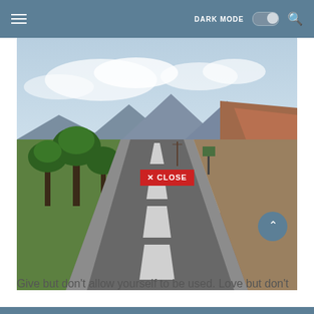DARK MODE  [toggle]  🔍
[Figure (photo): A straight road stretching into the distance toward mountains, with trees on the left side and arid hills on the right, under a partly cloudy sky. A red 'X CLOSE' button is overlaid near the center of the image.]
Give but don't allow yourself to be used. Love but don't...